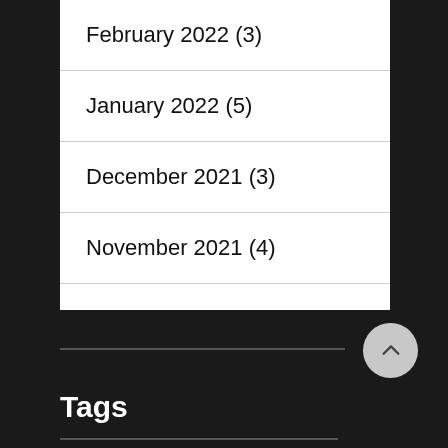February 2022 (3)
January 2022 (5)
December 2021 (3)
November 2021 (4)
October 2021 (4)
September 2021 (5)
Tags